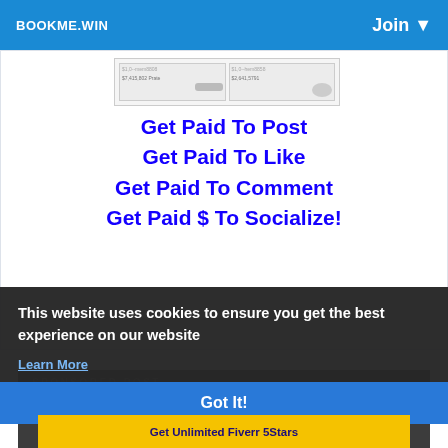BOOKME.WIN  Join
[Figure (screenshot): Screenshot thumbnail showing two data cells with values like $7,415,802 Prate and $2,641,5791]
Get Paid To Post
Get Paid To Like
Get Paid To Comment
Get Paid $ To Socialize!
SPONSORED POST
This website uses cookies to ensure you get the best experience on our website
Learn More
Got It!
Get Unlimited Fiverr 5Stars